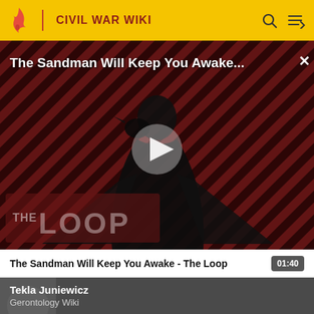CIVIL WAR WIKI
[Figure (screenshot): Video thumbnail showing a dark-cloaked figure with a raven against a red and black diagonal stripe background. 'THE LOOP' logo visible in lower left. Play button overlay in center. Title 'The Sandman Will Keep You Awake...' at top. Close X button top right.]
The Sandman Will Keep You Awake - The Loop  01:40
[Figure (screenshot): Card showing 'Tekla Juniewicz' title and 'Gerontology Wiki' subtitle on a dark background with a blurred figure.]